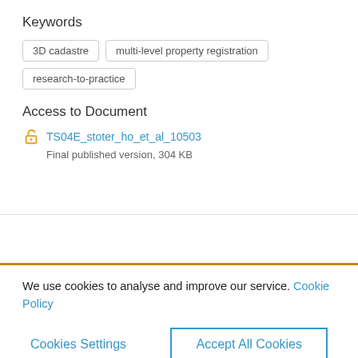Keywords
3D cadastre
multi-level property registration
research-to-practice
Access to Document
TS04E_stoter_ho_et_al_10503
Final published version, 304 KB
We use cookies to analyse and improve our service. Cookie Policy
Cookies Settings
Accept All Cookies